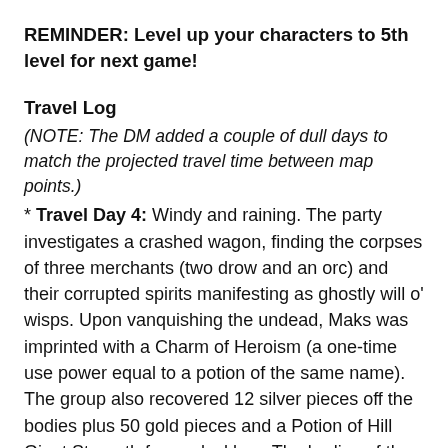REMINDER: Level up your characters to 5th level for next game!
Travel Log
(NOTE: The DM added a couple of dull days to match the projected travel time between map points.)
* Travel Day 4: Windy and raining. The party investigates a crashed wagon, finding the corpses of three merchants (two drow and an orc) and their corrupted spirits manifesting as ghostly will o' wisps. Upon vanquishing the undead, Maks was imprinted with a Charm of Heroism (a one-time use power equal to a potion of the same name). The group also recovered 12 silver pieces off the bodies plus 50 gold pieces and a Potion of Hill Giant Strength from a lockbox. The bodies of the slain